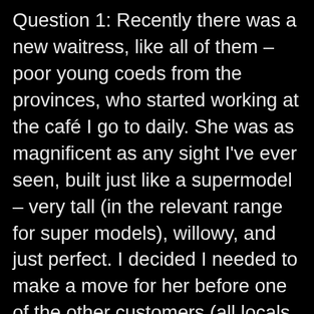Question 1: Recently there was a new waitress, like all of them – poor young coeds from the provinces, who started working at the café I go to daily. She was as magnificent as any sight I've ever seen, built just like a supermodel – very tall (in the relevant range for super models), willowy, and just perfect. I decided I needed to make a move for her before one of the other customers (all locals except for me, an expat) did. This café does tremendous turnover and she's the type where she attracts all the customers attention, what with her magnificent height, and when she walks down the street, the locals stop, turn around, and look at her some more. Surprisingly, I was successful. We have a date. During my seduction, or I should say my initial invitation, as I'm